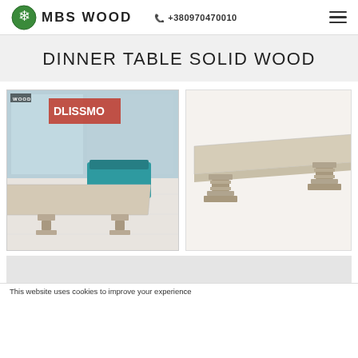MBS WOOD  +380970470010
DINNER TABLE SOLID WOOD
[Figure (photo): Left photo: a large solid wood dining table with pedestal bases shown in a furniture showroom with teal sofas and store signage in the background. A watermark 'WOOD' appears in top-left corner.]
[Figure (photo): Right photo: product shot of the dinner table with double pedestal bases on white/neutral background, showing the table from a 3/4 angle.]
This website uses cookies to improve your experience